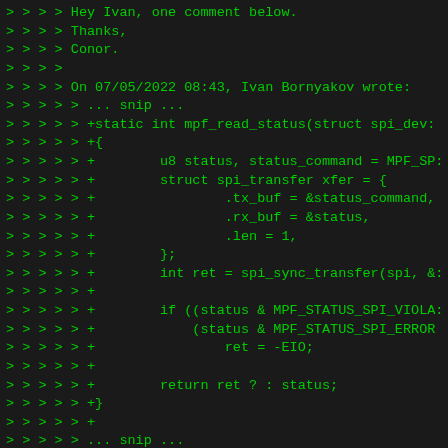> > > > Hey Ivan, one comment below.
> > > > Thanks,
> > > > Conor.
> > > >
> > > > On 07/05/2022 08:43, Ivan Bornyakov wrote:
> > > > > ... snip ...
> > > > > +static int mpf_read_status(struct spi_dev:
> > > > > +{
> > > > > +        u8 status, status_command = MPF_SP:
> > > > > +        struct spi_transfer xfer = {
> > > > > +                .tx_buf = &status_command,
> > > > > +                .rx_buf = &status,
> > > > > +                .len = 1,
> > > > > +        };
> > > > > +        int ret = spi_sync_transfer(spi, &:
> > > > > +
> > > > > +        if ((status & MPF_STATUS_SPI_VIOLA:
> > > > > +            (status & MPF_STATUS_SPI_ERROR
> > > > > +                ret = -EIO;
> > > > > +
> > > > > +        return ret ? : status;
> > > > > +}
> > > > > +
> > > > > ... snip ...
> > > > > +
> > > > > +static int poll_status_not_busy(struct sp:
> > > > > +{
> > > > > +        int status, timeout = MPF_STATUS_P(
> > > > > +
> > > > > +        while (timeout--) {
> > > > > +                status = mpf_read_status(s:
> > > > > +                if (status < 0 ||